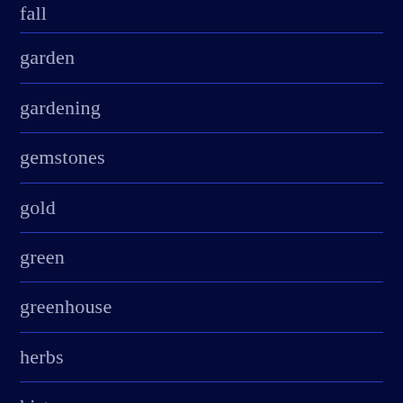fall
garden
gardening
gemstones
gold
green
greenhouse
herbs
history